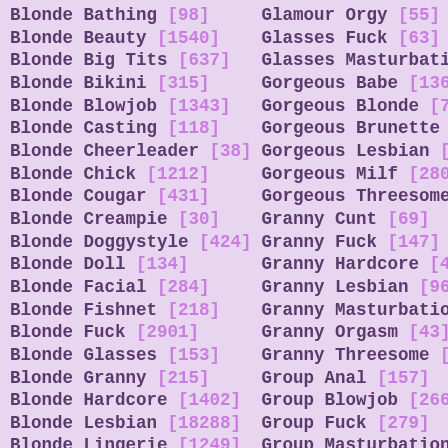Blonde Bathing [98]
Blonde Beauty [1540]
Blonde Big Tits [637]
Blonde Bikini [315]
Blonde Blowjob [1343]
Blonde Casting [118]
Blonde Cheerleader [38]
Blonde Chick [1212]
Blonde Cougar [431]
Blonde Creampie [30]
Blonde Doggystyle [424]
Blonde Doll [134]
Blonde Facial [284]
Blonde Fishnet [218]
Blonde Fuck [2901]
Blonde Glasses [153]
Blonde Granny [215]
Blonde Hardcore [1402]
Blonde Lesbian [18288]
Blonde Lingerie [1249]
Glamour Orgy [55]
Glasses Fuck [63]
Glasses Masturbation
Gorgeous Babe [1366]
Gorgeous Blonde [749]
Gorgeous Brunette [...]
Gorgeous Lesbian [2...]
Gorgeous Milf [280]
Gorgeous Threesome
Granny Cunt [69]
Granny Fuck [147]
Granny Hardcore [40...]
Granny Lesbian [962]
Granny Masturbation
Granny Orgasm [43]
Granny Threesome [4...]
Group Anal [157]
Group Blowjob [266]
Group Fuck [279]
Group Masturbation